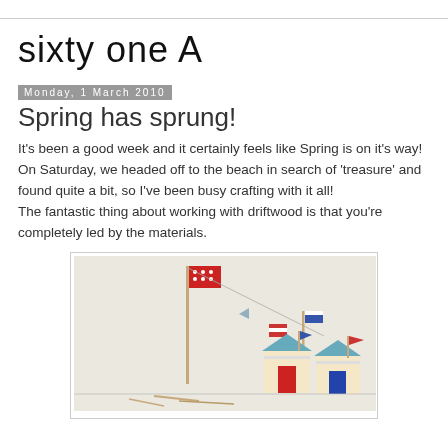sixty one A
Monday, 1 March 2010
Spring has sprung!
It's been a good week and it certainly feels like Spring is on it's way! On Saturday, we headed off to the beach in search of 'treasure' and found quite a bit, so I've been busy crafting with it all!
The fantastic thing about working with driftwood is that you're completely led by the materials.
[Figure (photo): Driftwood craft scene with miniature beach huts and flags on sticks against a light background.]